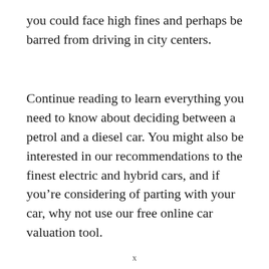you could face high fines and perhaps be barred from driving in city centers.
Continue reading to learn everything you need to know about deciding between a petrol and a diesel car. You might also be interested in our recommendations to the finest electric and hybrid cars, and if you’re considering of parting with your car, why not use our free online car valuation tool.
x